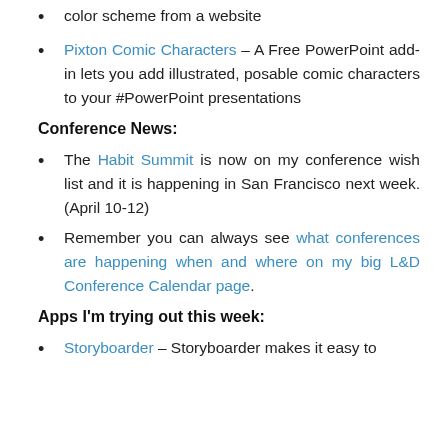color scheme from a website
Pixton Comic Characters – A Free PowerPoint add-in lets you add illustrated, posable comic characters to your #PowerPoint presentations
Conference News:
The Habit Summit is now on my conference wish list and it is happening in San Francisco next week. (April 10-12)
Remember you can always see what conferences are happening when and where on my big L&D Conference Calendar page.
Apps I'm trying out this week:
Storyboarder – Storyboarder makes it easy to